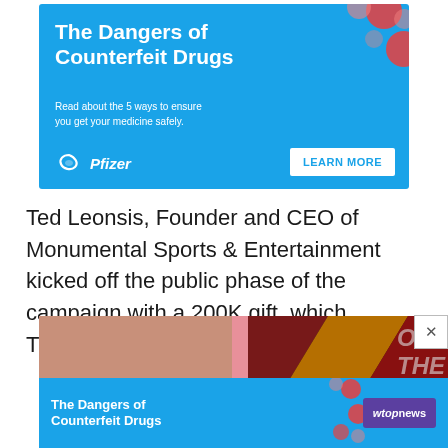[Figure (infographic): Pfizer advertisement: 'The Dangers of Counterfeit Drugs' — blue background with red pill dots, text 'Read about the 5 ways to ensure you get your medicine safely.' with Pfizer logo and LEARN MORE button.]
Ted Leonsis, Founder and CEO of Monumental Sports & Entertainment kicked off the public phase of the campaign with a 200K gift, which Thompson presented at the ceremony.
[Figure (photo): Photo of an interior space with pink pillar and dark background, partially overlaid by a WTOP news advertisement for 'The Dangers of Counterfeit Drugs' at the bottom.]